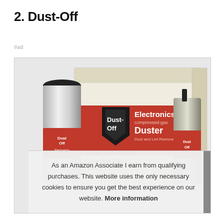2. Dust-Off
#ad
[Figure (photo): Dust-Off Electronics compressed-gas Duster product photo showing a box and cans. Box label reads 'Model #: DPSXLRCP, 12ea Dust-Off'. Red and white packaging with Dust-Off logo.]
As an Amazon Associate I earn from qualifying purchases. This website uses the only necessary cookies to ensure you get the best experience on our website. More information